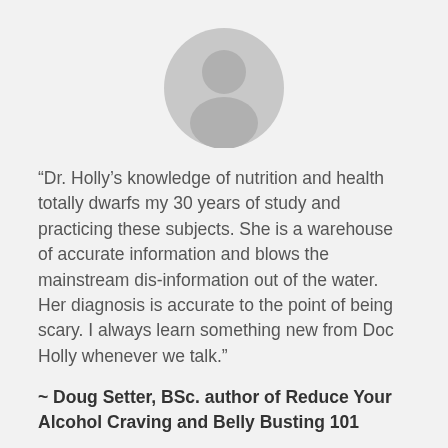[Figure (illustration): Generic grey placeholder avatar icon — circular silhouette of a person's head and shoulders on a light grey circle background]
“Dr. Holly’s knowledge of nutrition and health totally dwarfs my 30 years of study and practicing these subjects. She is a warehouse of accurate information and blows the mainstream dis-information out of the water. Her diagnosis is accurate to the point of being scary. I always learn something new from Doc Holly whenever we talk.”
~ Doug Setter, BSc. author of Reduce Your Alcohol Craving and Belly Busting 101